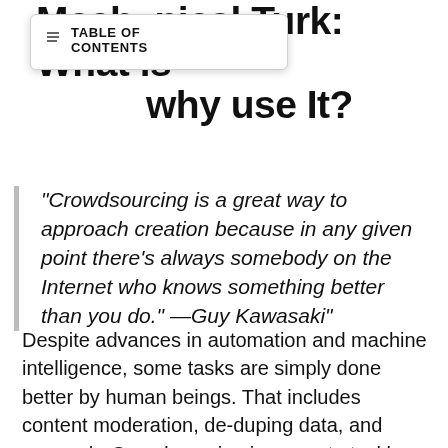Mechanical Turk: What is why use It?
[Figure (other): Popup card overlay showing TABLE OF CONTENTS label with a list icon]
“Crowdsourcing is a great way to approach creation because in any given point there’s always somebody on the Internet who knows something better than you do.” —Guy Kawasaki”
Despite advances in automation and machine intelligence, some tasks are simply done better by human beings. That includes content moderation, de-duping data, and research. Crowdsourcing is a way to tackle a really big problem by dividing it